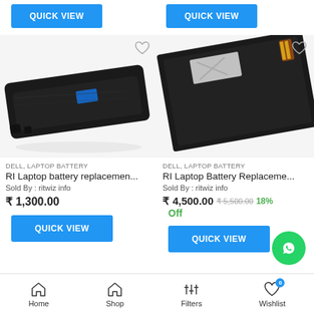[Figure (screenshot): Two QUICK VIEW blue buttons at top of page, side by side]
[Figure (photo): Left product: Black Dell laptop battery replacement, angled view]
[Figure (photo): Right product: Black Dell laptop battery replacement, flat pack style]
DELL, LAPTOP BATTERY
RI Laptop battery replacemen...
Sold By : ritwiz info
₹ 1,300.00
DELL, LAPTOP BATTERY
RI Laptop Battery Replaceme...
Sold By : ritwiz info
₹ 4,500.00  ₹ 5,500.00  18% Off
Home   Shop   Filters   Wishlist